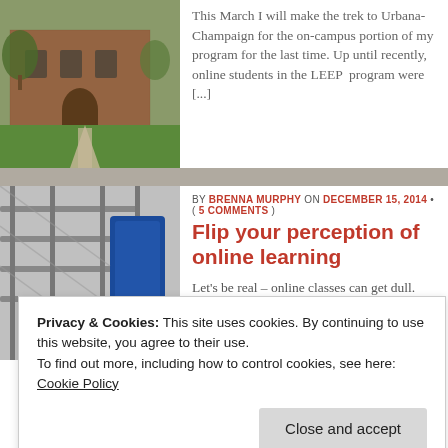[Figure (photo): Brick building exterior with green lawn and walkway, campus photo]
This March I will make the trek to Urbana-Champaign for the on-campus portion of my program for the last time. Up until recently, online students in the LEEP program were [...]
[Figure (photo): Close-up of metal shelving or rack with a blue object, indoor photo]
BY BRENNA MURPHY ON DECEMBER 15, 2014 • ( 5 COMMENTS )
Flip your perception of online learning
Let's be real – online classes can get dull. You attend a point-in-time th
Privacy & Cookies: This site uses cookies. By continuing to use this website, you agree to their use.
To find out more, including how to control cookies, see here:
Cookie Policy
Close and accept